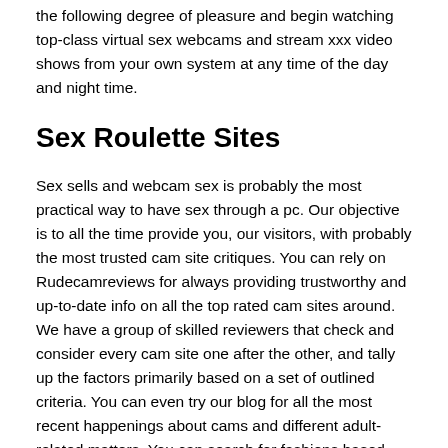the following degree of pleasure and begin watching top-class virtual sex webcams and stream xxx video shows from your own system at any time of the day and night time.
Sex Roulette Sites
Sex sells and webcam sex is probably the most practical way to have sex through a pc. Our objective is to all the time provide you, our visitors, with probably the most trusted cam site critiques. You can rely on Rudecamreviews for always providing trustworthy and up-to-date info on all the top rated cam sites around. We have a group of skilled reviewers that check and consider every cam site one after the other, and tally up the factors primarily based on a set of outlined criteria. You can even try our blog for all the most recent happenings about cams and different adult-related matters. You can search for fashions based mostly on orientation or use filters like hair color, physique kind, willingness to carry out specific sex acts